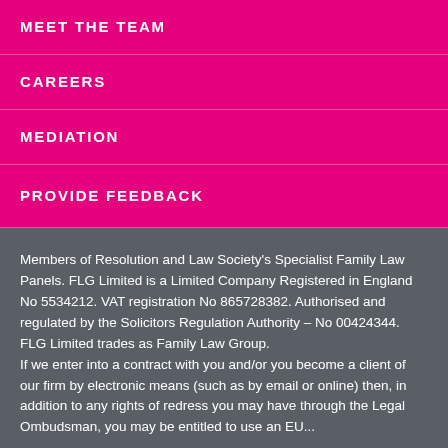MEET THE TEAM
CAREERS
MEDIATION
PROVIDE FEEDBACK
Members of Resolution and Law Society's Specialist Family Law Panels. FLG Limited is a Limited Company Registered in England No 5534212. VAT registration No 865728382. Authorised and regulated by the Solicitors Regulation Authority – No 00424344. FLG Limited trades as Family Law Group. If we enter into a contract with you and/or you become a client of our firm by electronic means (such as by email or online) then, in addition to any rights of redress you may have through the Legal Ombudsman, you may be entitled to use an EU...